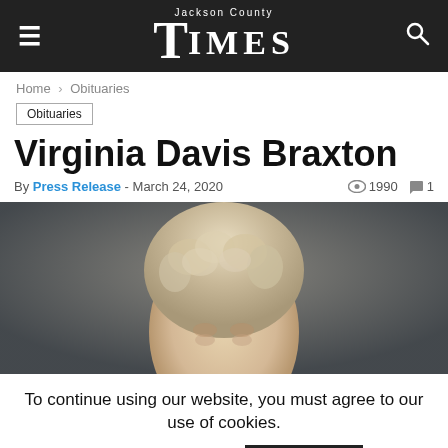Jackson County Times
Home > Obituaries
Obituaries
Virginia Davis Braxton
By Press Release - March 24, 2020 | 1990 views | 1 comment
[Figure (photo): Close-up photo of an elderly woman with curly blonde/white hair against a dark background]
To continue using our website, you must agree to our use of cookies. Cookie settings ACCEPT